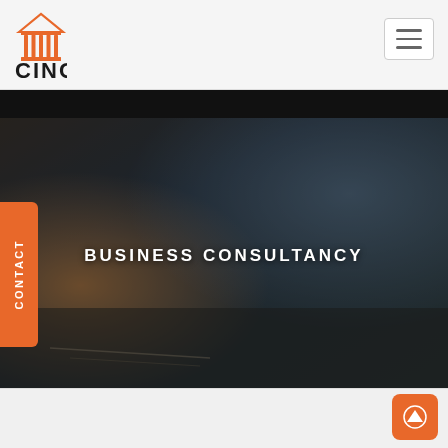[Figure (logo): CINC brand logo with orange classical column/temple icon above the text CINC in bold black letters]
[Figure (other): Hamburger menu icon (three horizontal lines) in a white rounded rectangle button in top right corner]
[Figure (photo): Hero banner photo showing a person in a blue shirt working at a desk with documents, pen, and calculator, overlaid with dark tint. Text reads BUSINESS CONSULTANCY in white capital letters centered on the image.]
BUSINESS CONSULTANCY
[Figure (other): Orange vertical CONTACT tab on the left side of the page]
[Figure (other): Orange scroll-to-top button with upward arrow in bottom right corner]